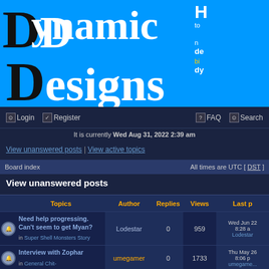[Figure (logo): Dynamic Designs forum logo on blue background with stylized DD lettering]
H... to ... de... bi... dy...
Login | Register | FAQ | Search | It is currently Wed Aug 31, 2022 2:39 am
View unanswered posts | View active topics
Board index    All times are UTC [ DST ]
View unanswered posts
| Topics | Author | Replies | Views | Last p... |
| --- | --- | --- | --- | --- |
| Need help progressing. Can't seem to get Myan? in Super Shell Monsters Story | Lodestar | 0 | 959 | Wed Jun 22 8:28 a... Lodestar |
| Interview with Zophar in General Chit-... | umegamer | 0 | 1733 | Thu May 26 8:06 p... umegame... |